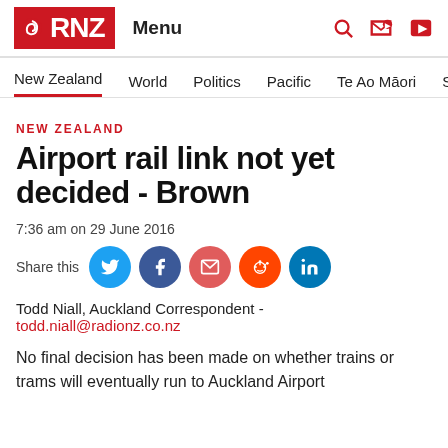RNZ Menu
New Zealand  World  Politics  Pacific  Te Ao Māori  S
NEW ZEALAND
Airport rail link not yet decided - Brown
7:36 am on 29 June 2016
Share this
Todd Niall, Auckland Correspondent -
todd.niall@radionz.co.nz
No final decision has been made on whether trains or trams will eventually run to Auckland Airport